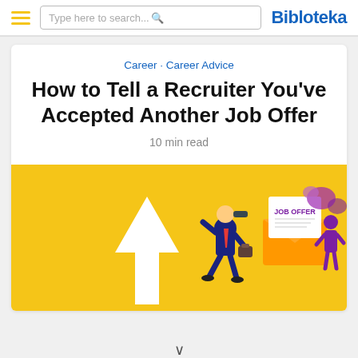Bibloteka — search bar navigation header
Career · Career Advice
How to Tell a Recruiter You've Accepted Another Job Offer
10 min read
[Figure (illustration): Yellow background illustration showing a businessman running with binoculars, a large white upward arrow, and a purple figure holding a 'JOB OFFER' envelope letter.]